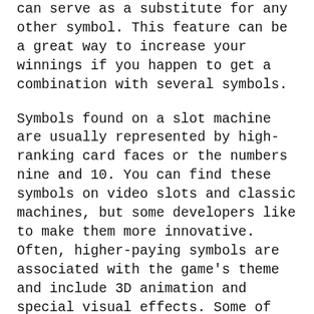can serve as a substitute for any other symbol. This feature can be a great way to increase your winnings if you happen to get a combination with several symbols.
Symbols found on a slot machine are usually represented by high-ranking card faces or the numbers nine and 10. You can find these symbols on video slots and classic machines, but some developers like to make them more innovative. Often, higher-paying symbols are associated with the game's theme and include 3D animation and special visual effects. Some of these symbols are even used to trigger bonus games. The symbols found on a slot machine vary greatly depending on the type and theme of the game.